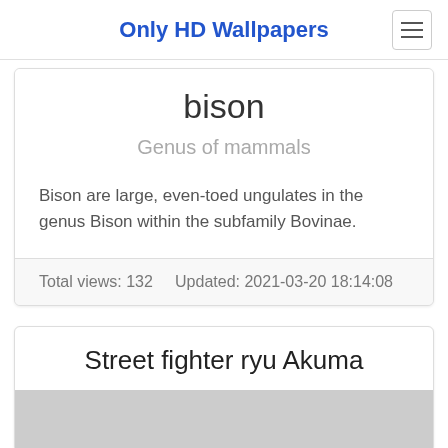Only HD Wallpapers
bison
Genus of mammals
Bison are large, even-toed ungulates in the genus Bison within the subfamily Bovinae.
Total views: 132    Updated: 2021-03-20 18:14:08
Street fighter ryu Akuma
[Figure (photo): Placeholder image area for Street fighter ryu Akuma wallpaper]